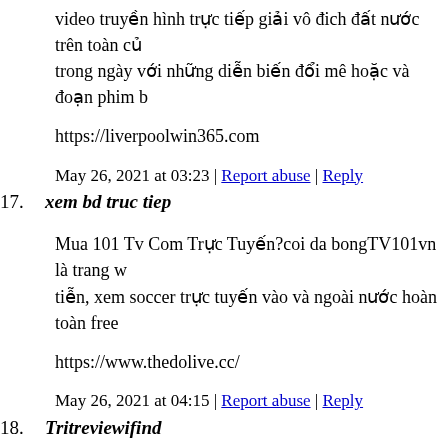video truyền hình trực tiếp giải vô đich đất nước trên toàn cả
trong ngày với những diễn biến đổi mê hoặc và đoạn phim b
https://liverpoolwin365.com
May 26, 2021 at 03:23 | Report abuse | Reply
17. xem bd truc tiep
Mua 101 Tv Com Trực Tuyến?coi da bongTV101vn là trang w
tiễn, xem soccer trực tuyến vào và ngoài nước hoàn toàn free
https://www.thedolive.cc/
May 26, 2021 at 04:15 | Report abuse | Reply
18. Tritreviewifind
tadalafil generic https://tadagatadalafil.com/ – side effects for t
prescription
May 26, 2021 at 04:27 | Report abuse | Reply
19. Lashunda Stautz
I accidentally deleted my joomla files from server? How to ins
https://www.facebook.com/KateKowalskyWebMarketing